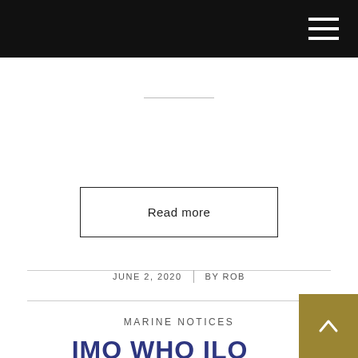Read more
JUNE 2, 2020 | BY ROB
MARINE NOTICES
IMO WHO ILO STATEMENT